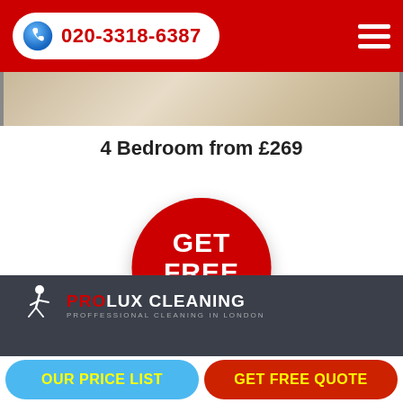020-3318-6387
[Figure (photo): Partial view of a bedroom or room interior showing light-colored walls and a door frame]
4 Bedroom from £269
[Figure (infographic): Red circular button with white text reading GET FREE QUOTE]
[Figure (logo): PROLUX CLEANING logo with figure icon and tagline PROFFESSIONAL CLEANING IN LONDON]
OUR PRICE LIST | GET FREE QUOTE